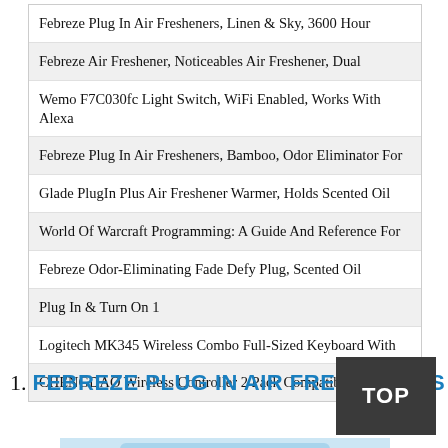Febreze Plug In Air Fresheners, Linen & Sky, 3600 Hour
Febreze Air Freshener, Noticeables Air Freshener, Dual
Wemo F7C030fc Light Switch, WiFi Enabled, Works With Alexa
Febreze Plug In Air Fresheners, Bamboo, Odor Eliminator For
Glade PlugIn Plus Air Freshener Warmer, Holds Scented Oil
World Of Warcraft Programming: A Guide And Reference For
Febreze Odor-Eliminating Fade Defy Plug, Scented Oil
Plug In & Turn On 1
Logitech MK345 Wireless Combo Full-Sized Keyboard With
CHENGDAO Wireless Controller 2 Pack Compatible With
1. FEBREZE PLUG IN AIR FRESHENERS
[Figure (photo): Product image of Febreze Plug In Air Fresheners, partially visible at bottom of page]